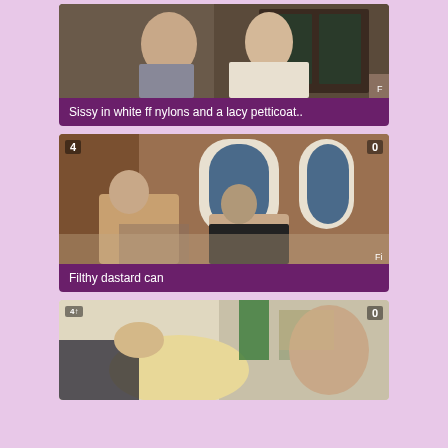[Figure (photo): Two people embracing near a doorway with wooden door and window behind them]
Sissy in white ff nylons and a lacy petticoat..
[Figure (photo): Outdoor scene with brick building, arched windows, people near a car, with badges showing 4 and 0]
Filthy dastard can
[Figure (photo): Indoor scene with blonde hair and person in green outfit, badge showing 0]